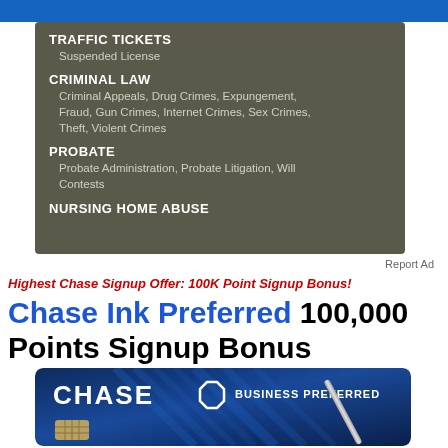BankDeals
[Figure (screenshot): Dark olive/khaki advertisement box listing legal services categories: TRAFFIC TICKETS (Suspended License), CRIMINAL LAW (Criminal Appeals, Drug Crimes, Expungement, Fraud, Gun Crimes, Internet Crimes, Sex Crimes, Theft, Violent Crimes), PROBATE (Probate Administration, Probate Litigation, Will Contests), NURSING HOME ABUSE]
Report Ad
Highest Chase Signup Offer: 100K Point Signup Bonus!
Chase Ink Preferred 100,000 Points Signup Bonus
[Figure (photo): Chase Ink Business Preferred credit card image on dark blue diagonal-striped background with pen graphic. Shows CHASE logo with octagon symbol and text BUSINESS PREFERRED.]